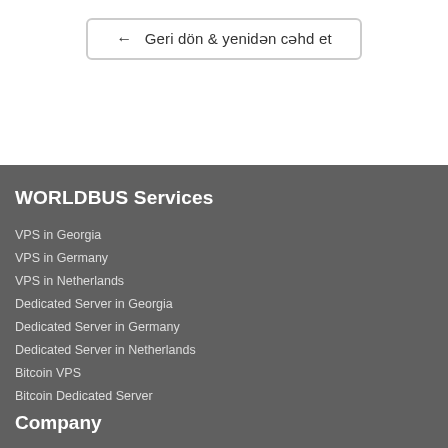← Geri dön & yenidən cəhd et
WORLDBUS Services
VPS in Georgia
VPS in Germany
VPS in Netherlands
Dedicated Server in Georgia
Dedicated Server in Germany
Dedicated Server in Netherlands
Bitcoin VPS
Bitcoin Dedicated Server
Company